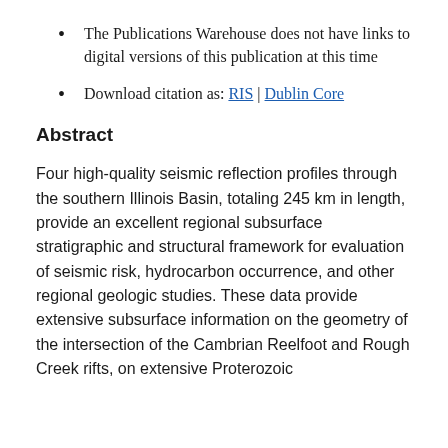The Publications Warehouse does not have links to digital versions of this publication at this time
Download citation as: RIS | Dublin Core
Abstract
Four high-quality seismic reflection profiles through the southern Illinois Basin, totaling 245 km in length, provide an excellent regional subsurface stratigraphic and structural framework for evaluation of seismic risk, hydrocarbon occurrence, and other regional geologic studies. These data provide extensive subsurface information on the geometry of the intersection of the Cambrian Reelfoot and Rough Creek rifts, on extensive Proterozoic